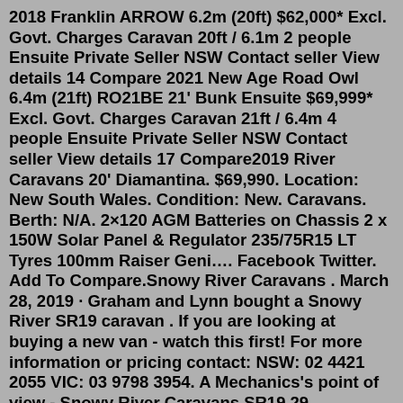2018 Franklin ARROW 6.2m (20ft) $62,000* Excl. Govt. Charges Caravan 20ft / 6.1m 2 people Ensuite Private Seller NSW Contact seller View details 14 Compare 2021 New Age Road Owl 6.4m (21ft) RO21BE 21' Bunk Ensuite $69,999* Excl. Govt. Charges Caravan 21ft / 6.4m 4 people Ensuite Private Seller NSW Contact seller View details 17 Compare2019 River Caravans 20' Diamantina. $69,990. Location: New South Wales. Condition: New. Caravans. Berth: N/A. 2×120 AGM Batteries on Chassis 2 x 150W Solar Panel & Regulator 235/75R15 LT Tyres 100mm Raiser Geni…. Facebook Twitter. Add To Compare.Snowy River Caravans . March 28, 2019 · Graham and Lynn bought a Snowy River SR19 caravan . If you are looking at buying a new van - watch this first! For more information or pricing contact: NSW: 02 4421 2055 VIC: 03 9798 3954. A Mechanics's point of view - Snowy River Caravans SR19.29 Properties in New South Wales from $425,000. Find the best offers for your search caravan park cabins new south wales. As a country park with